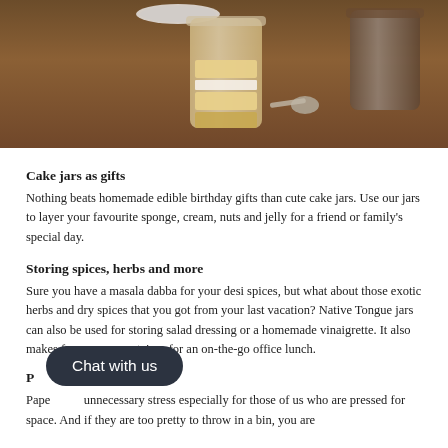[Figure (photo): Photo of cake jars filled with sponge cake and cream layers on a wooden table, with spoons nearby]
Cake jars as gifts
Nothing beats homemade edible birthday gifts than cute cake jars. Use our jars to layer your favourite sponge, cream, nuts and jelly for a friend or family's special day.
Storing spices, herbs and more
Sure you have a masala dabba for your desi spices, but what about those exotic herbs and dry spices that you got from your last vacation? Native Tongue jars can also be used for storing salad dressing or a homemade vinaigrette. It also makes for an easy container for an on-the-go office lunch.
P
Pape... unnecessary stress especially for those of us who are pressed for space. And if they are too pretty to throw in a bin, you are